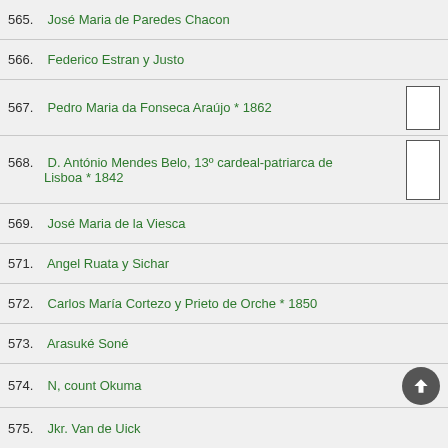565.  José Maria de Paredes Chacon
566.  Federico Estran y Justo
567.  Pedro Maria da Fonseca Araújo * 1862
568.  D. António Mendes Belo, 13º cardeal-patriarca de Lisboa * 1842
569.  José Maria de la Viesca
571.  Angel Ruata y Sichar
572.  Carlos María Cortezo y Prieto de Orche * 1850
573.  Arasuké Soné
574.  N, count Okuma
575.  Jkr. Van de Uick